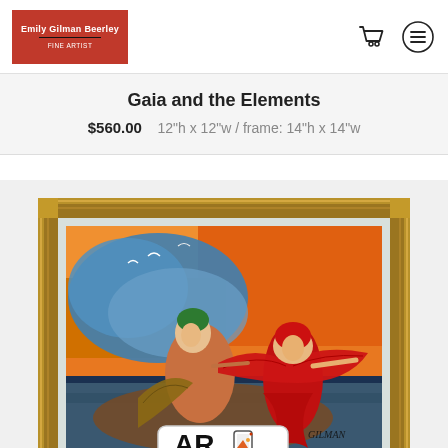[Figure (logo): Emily Gilman Beerley artist logo on red background]
Gaia and the Elements
$560.00   12"h x 12"w / frame: 14"h x 14"w
[Figure (photo): Framed oil painting titled 'Gaia and the Elements' by Gilman, showing two figures — one in earth tones with wings and one in red flowing garment — against an orange and blue sky background, in an ornate gold frame. An AR Compatible badge is overlaid at the bottom center.]